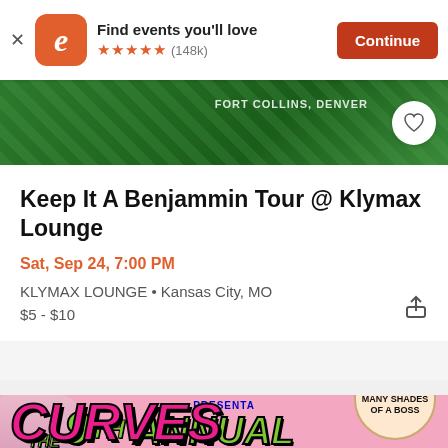[Figure (screenshot): App install banner with Eventbrite logo (orange rounded square with white 'e'), text 'Find events you'll love', five orange stars, '(148k)' reviews, and orange 'Continue' button. An X close button is on the left.]
[Figure (photo): Partial green promotional banner with text 'FORT COLLINS, DENVER' and a white circle heart/favorite button on the right.]
Keep It A Benjammin Tour @ Klymax Lounge
Sat, Sep 24, 7:00 PM
KLYMAX LOUNGE • Kansas City, MO
$5 - $10
[Figure (photo): Pink promotional event flyer for 'The 9th Annual CURVES' event. Features large pink graffiti-style 'CURVES' text with green '9TH ANNUAL' text above. A man in a pink blazer is on the left side. A gold circular badge on the right reads 'THEME: MANY SHADES OF A BOSS'.]